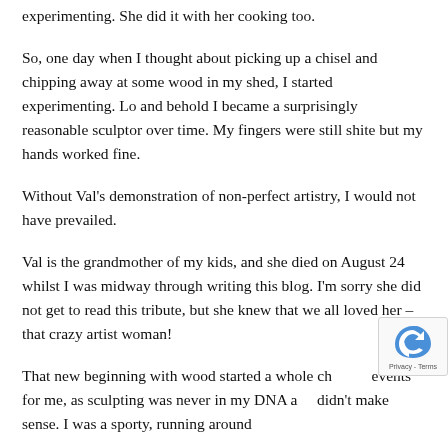experimenting. She did it with her cooking too.
So, one day when I thought about picking up a chisel and chipping away at some wood in my shed, I started experimenting. Lo and behold I became a surprisingly reasonable sculptor over time. My fingers were still shite but my hands worked fine.
Without Val's demonstration of non-perfect artistry, I would not have prevailed.
Val is the grandmother of my kids, and she died on August 24 whilst I was midway through writing this blog. I'm sorry she did not get to read this tribute, but she knew that we all loved her – that crazy artist woman!
That new beginning with wood started a whole chain of events for me, as sculpting was never in my DNA and didn't make sense. I was a sporty, running around kind,